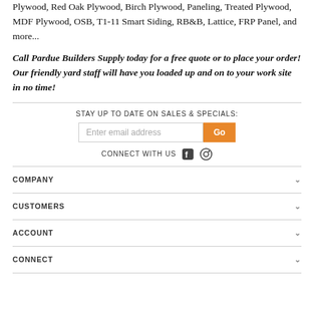Plywood, Red Oak Plywood, Birch Plywood, Paneling, Treated Plywood, MDF Plywood, OSB, T1-11 Smart Siding, RB&B, Lattice, FRP Panel, and more...
Call Pardue Builders Supply today for a free quote or to place your order! Our friendly yard staff will have you loaded up and on to your work site in no time!
STAY UP TO DATE ON SALES & SPECIALS:
Enter email address  Go
CONNECT WITH US
COMPANY
CUSTOMERS
ACCOUNT
CONNECT